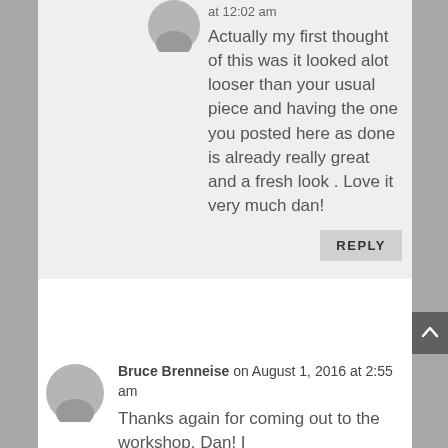at 12:02 am
Actually my first thought of this was it looked alot looser than your usual piece and having the one you posted here as done is already really great and a fresh look . Love it very much dan!
REPLY
Bruce Brenneise on August 1, 2016 at 2:55 am
Thanks again for coming out to the workshop, Dan! I